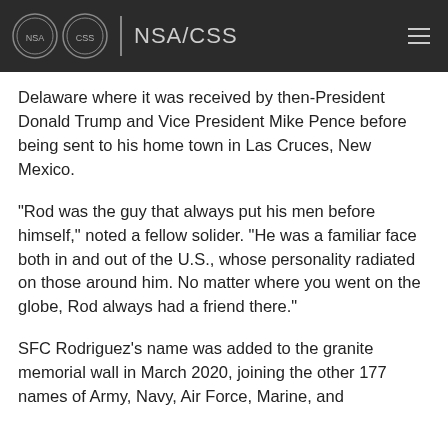NSA/CSS
Delaware where it was received by then-President Donald Trump and Vice President Mike Pence before being sent to his home town in Las Cruces, New Mexico.
"Rod was the guy that always put his men before himself," noted a fellow solider. "He was a familiar face both in and out of the U.S., whose personality radiated on those around him. No matter where you went on the globe, Rod always had a friend there."
SFC Rodriguez's name was added to the granite memorial wall in March 2020, joining the other 177 names of Army, Navy, Air Force, Marine, and